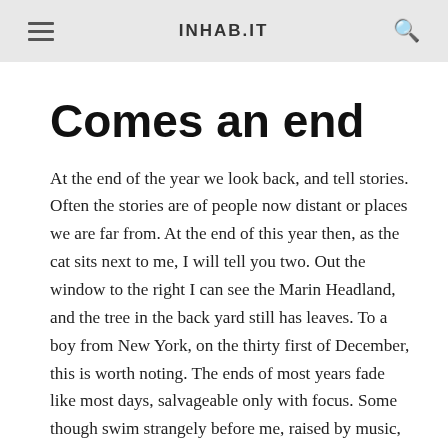INHAB.IT
Comes an end
At the end of the year we look back, and tell stories. Often the stories are of people now distant or places we are far from. At the end of this year then, as the cat sits next to me, I will tell you two. Out the window to the right I can see the Marin Headland, and the tree in the back yard still has leaves. To a boy from New York, on the thirty first of December, this is worth noting. The ends of most years fade like most days, salvageable only with focus. Some though swim strangely before me, raised by music, perhaps, or phone calls, the voices of people involved.